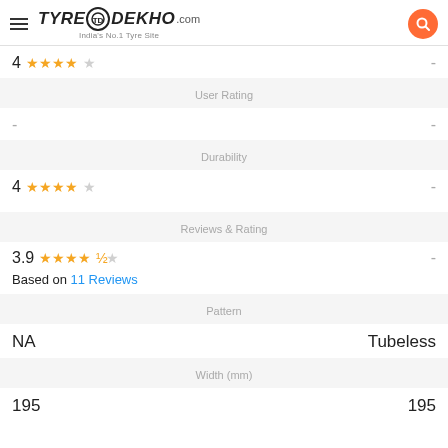TyreDekho.com - India's No.1 Tyre Site
4 ★★★★☆ -
User Rating
- -
Durability
4 ★★★★☆ -
Reviews & Rating
3.9 ★★★★☆ - Based on 11 Reviews
Pattern
NA Tubeless
Width (mm)
195 195